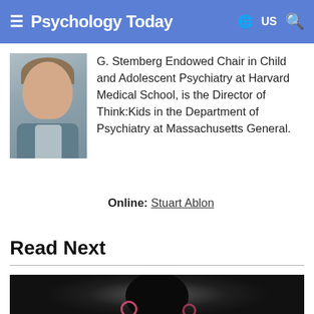Psychology Today
G. Stemberg Endowed Chair in Child and Adolescent Psychiatry at Harvard Medical School, is the Director of Think:Kids in the Department of Psychiatry at Massachusetts General.
Online: Stuart Ablon
Read Next
[Figure (photo): Eclipse photo showing a dark circle (moon) with pink/red corona against a grey misty background]